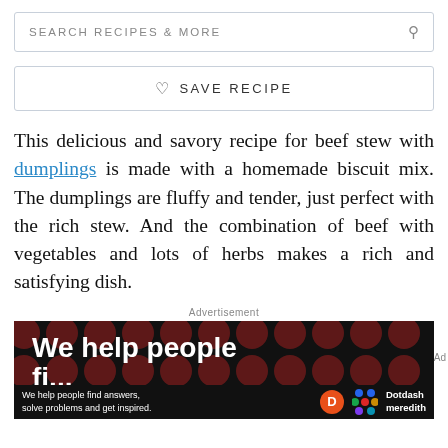SEARCH RECIPES & MORE
♡  SAVE RECIPE
This delicious and savory recipe for beef stew with dumplings is made with a homemade biscuit mix. The dumplings are fluffy and tender, just perfect with the rich stew. And the combination of beef with vegetables and lots of herbs makes a rich and satisfying dish.
Advertisement
[Figure (other): Dotdash Meredith advertisement banner with dark background and red polka dots. Large white bold text reads 'We help people' with partial second line. Bottom bar shows 'We help people find answers, solve problems and get inspired.' with Dotdash Meredith logo.]